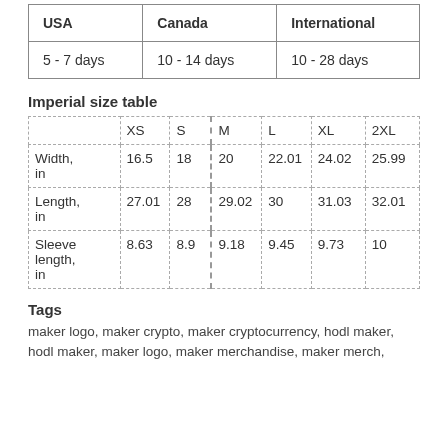| USA | Canada | International |
| --- | --- | --- |
| 5 - 7 days | 10 - 14 days | 10 - 28 days |
Imperial size table
|  | XS | S | M | L | XL | 2XL |
| --- | --- | --- | --- | --- | --- | --- |
| Width, in | 16.5 | 18 | 20 | 22.01 | 24.02 | 25.99 |
| Length, in | 27.01 | 28 | 29.02 | 30 | 31.03 | 32.01 |
| Sleeve length, in | 8.63 | 8.9 | 9.18 | 9.45 | 9.73 | 10 |
Tags
maker logo, maker crypto, maker cryptocurrency, hodl maker, hodl maker, maker logo, maker merchandise, maker merch,